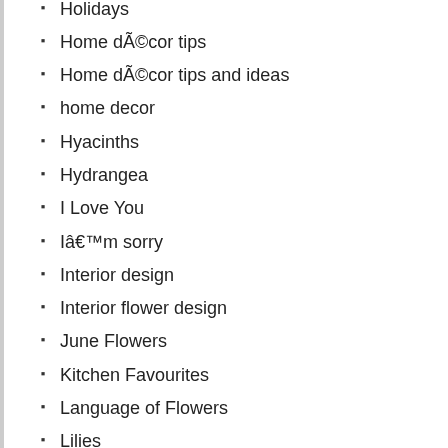Holidays
Home dÃ©cor tips
Home dÃ©cor tips and ideas
home decor
Hyacinths
Hydrangea
I Love You
Iâ€™m sorry
Interior design
Interior flower design
June Flowers
Kitchen Favourites
Language of Flowers
Lilies
Lilly
Lily